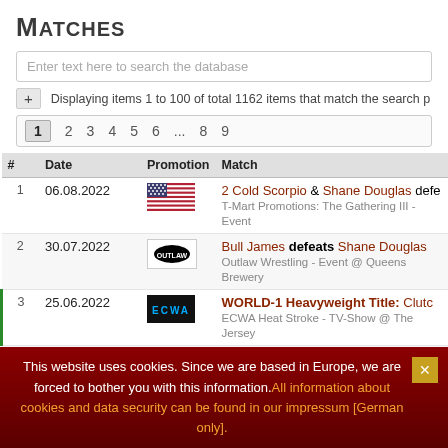Matches
Enter text here to search the database
Displaying items 1 to 100 of total 1162 items that match the search p...
1  2  3  4  5  6  ...  8  9
| # | Date | Promotion | Match |
| --- | --- | --- | --- |
| 1 | 06.08.2022 | [US flag] | 2 Cold Scorpio & Shane Douglas defe... T-Mart Promotions: The Gathering III - Event... |
| 2 | 30.07.2022 | [Outlaw logo] | Bull James defeats Shane Douglas Outlaw Wrestling - Event @ Queens Brewery... |
| 3 | 25.06.2022 | [ECWA logo] | WORLD-1 Heavyweight Title: Clutch... ECWA Heat Stroke - TV-Show @ The Jersey... |
| 4 | 17.06.2022 | [AIW logo] | Shane Douglas & Wes Barkley defea... AIW Gangsta Rap Made Me Do It - TV-Show... |
This website uses cookies. Since we are based in Europe, we are forced to bother you with this information. All information about cookies and data security can be found in our impressum [German only].